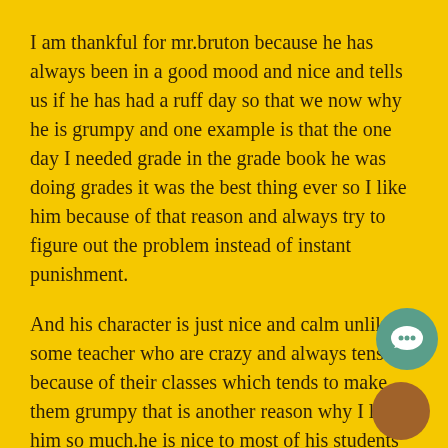I am thankful for mr.bruton because he has always been in a good mood and nice and tells us if he has had a ruff day so that we now why he is grumpy and one example is that the one day I needed grade in the grade book he was doing grades it was the best thing ever so I like him because of that reason and always try to figure out the problem instead of instant punishment.
And his character is just nice and calm unlike some teacher who are crazy and always tense because of their classes which tends to make them grumpy that is another reason why I like him so much.he is nice to most of his students expect for the ones who give him trouble every single day which is understandable.